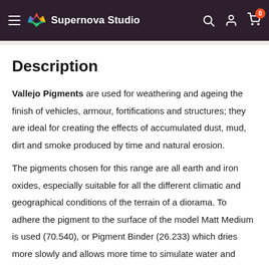Supernova Studio
Description
Vallejo Pigments are used for weathering and ageing the finish of vehicles, armour, fortifications and structures; they are ideal for creating the effects of accumulated dust, mud, dirt and smoke produced by time and natural erosion.
The pigments chosen for this range are all earth and iron oxides, especially suitable for all the different climatic and geographical conditions of the terrain of a diorama. To adhere the pigment to the surface of the model Matt Medium is used (70.540), or Pigment Binder (26.233) which dries more slowly and allows more time to simulate water and